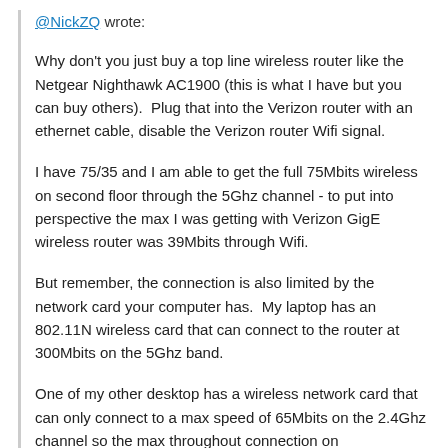@NickZQ wrote:
Why don't you just buy a top line wireless router like the Netgear Nighthawk AC1900 (this is what I have but you can buy others).  Plug that into the Verizon router with an ethernet cable, disable the Verizon router Wifi signal.

I have 75/35 and I am able to get the full 75Mbits wireless on second floor through the 5Ghz channel - to put into perspective the max I was getting with Verizon GigE wireless router was 39Mbits through Wifi.

But remember, the connection is also limited by the network card your computer has.  My laptop has an 802.11N wireless card that can connect to the router at 300Mbits on the 5Ghz band.

One of my other desktop has a wireless network card that can only connect to a max speed of 65Mbits on the 2.4Ghz channel so the max throughout connection on